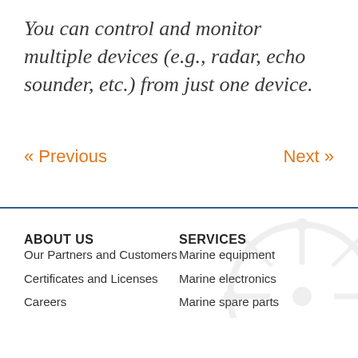You can control and monitor multiple devices (e.g., radar, echo sounder, etc.) from just one device.
« Previous
Next »
ABOUT US
Our Partners and Customers
Certificates and Licenses
Careers
SERVICES
Marine equipment
Marine electronics
Marine spare parts